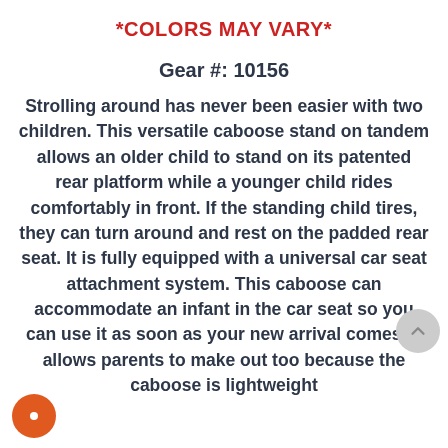*COLORS MAY VARY*
Gear #: 10156
Strolling around has never been easier with two children. This versatile caboose stand on tandem allows an older child to stand on its patented rear platform while a younger child rides comfortably in front. If the standing child tires, they can turn around and rest on the padded rear seat. It is fully equipped with a universal car seat attachment system. This caboose can accommodate an infant in the car seat so you can use it as soon as your new arrival comes. It allows parents to make out too because the caboose is lightweight